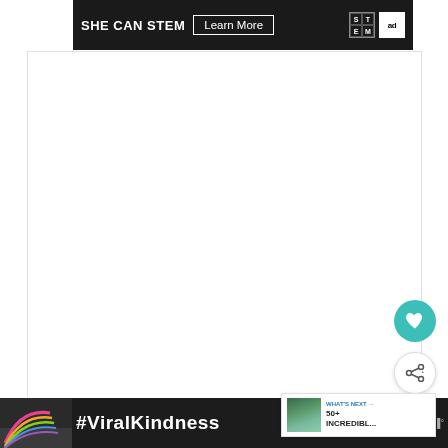[Figure (screenshot): SHE CAN STEM advertisement banner with 'Learn More' button, STEM logo grid, and Ad Council logo on dark background]
[Figure (screenshot): White content area with floating action buttons: teal heart button and white share button with social icon]
[Figure (screenshot): What's Next panel showing a landscape thumbnail image with text '50+ INCREDIBL...']
If you would like to read more about the
[Figure (screenshot): #ViralKindness bottom advertisement banner with rainbow illustration on dark background, with close buttons]